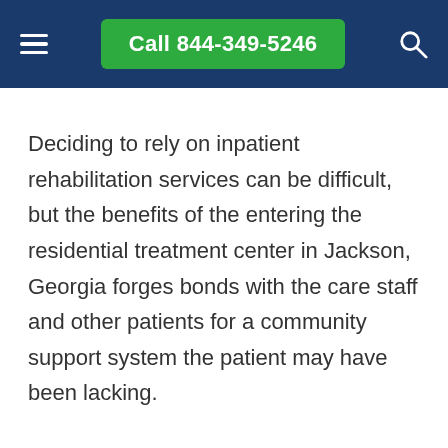Call 844-349-5246
Deciding to rely on inpatient rehabilitation services can be difficult, but the benefits of the entering the residential treatment center in Jackson, Georgia forges bonds with the care staff and other patients for a community support system the patient may have been lacking.
Patients forced to turn to inpatient rehabilitation centers are often left with no